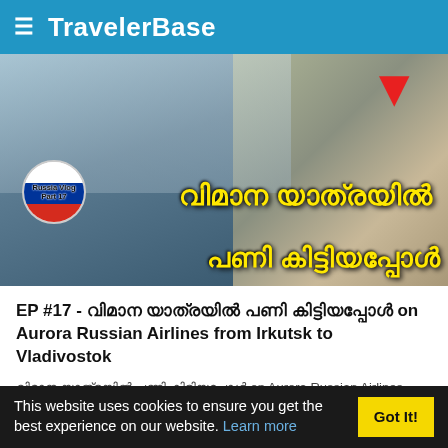TravelerBase
[Figure (screenshot): YouTube thumbnail showing travelers near an airplane and a person at a service counter. Text overlay in Malayalam script in yellow: 'വിമാന യാത്രയിൽ പണി കിട്ടിയപ്പോൾ'. Badge reads 'Russia Vlog Part 17' with Russian flag. Red downward arrow on right side.]
EP #17 - വിമാന യാത്രയിൽ പണി കിട്ടിയപ്പോൾ on Aurora Russian Airlines from Irkutsk to Vladivostok
വിമാന യാത്രയിൽ പണി കിട്ടിയപ്പോൾ on Aurora Russian Airlines, Irkutsk to Vladivostok (North Korea - China Border City). ഇതുപോലെ സംഭവിച്ചാൽ ഇങ്ങനെ ചെയ്യണം. !!
This website uses cookies to ensure you get the best experience on our website. Learn more